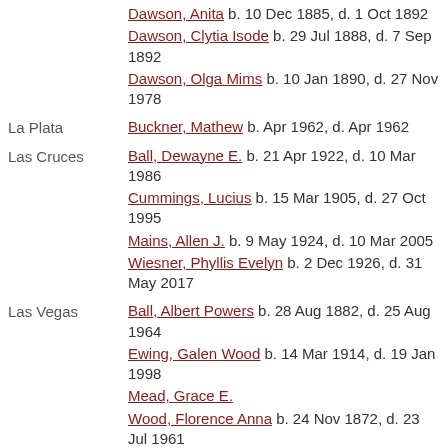Dawson, Anita  b. 10 Dec 1885, d. 1 Oct 1892
Dawson, Clytia Isode  b. 29 Jul 1888, d. 7 Sep 1892
Dawson, Olga Mims  b. 10 Jan 1890, d. 27 Nov 1978
La Plata
Buckner, Mathew  b. Apr 1962, d. Apr 1962
Las Cruces
Ball, Dewayne E.  b. 21 Apr 1922, d. 10 Mar 1986
Cummings, Lucius  b. 15 Mar 1905, d. 27 Oct 1995
Mains, Allen J.  b. 9 May 1924, d. 10 Mar 2005
Wiesner, Phyllis Evelyn  b. 2 Dec 1926, d. 31 May 2017
Las Vegas
Ball, Albert Powers  b. 28 Aug 1882, d. 25 Aug 1964
Ewing, Galen Wood  b. 14 Mar 1914, d. 19 Jan 1998
Mead, Grace E.
Wood, Florence Anna  b. 24 Nov 1872, d. 23 Jul 1961